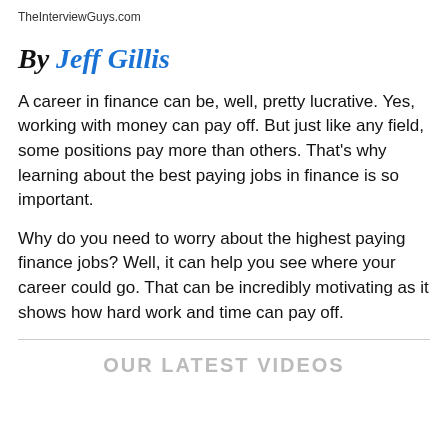TheInterviewGuys.com
By Jeff Gillis
A career in finance can be, well, pretty lucrative. Yes, working with money can pay off. But just like any field, some positions pay more than others. That's why learning about the best paying jobs in finance is so important.
Why do you need to worry about the highest paying finance jobs? Well, it can help you see where your career could go. That can be incredibly motivating as it shows how hard work and time can pay off.
OUR LATEST VIDEOS